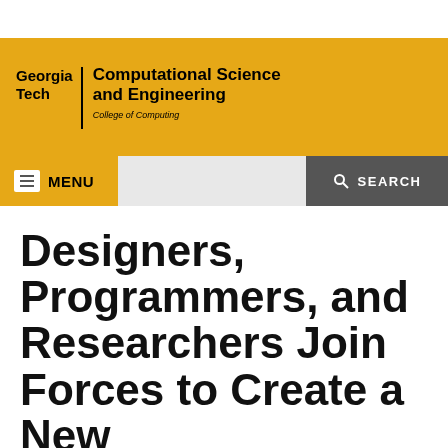[Figure (logo): Georgia Tech Computational Science and Engineering, College of Computing logo on yellow background]
MENU   SEARCH
Designers, Programmers, and Researchers Join Forces to Create a New Kind of Digital Magazine Called the